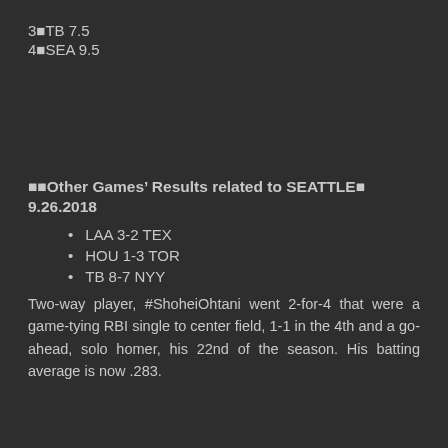3■TB 7.5
4■SEA 9.5
■■Other Games’ Results related to SEATTLE■
9.26.2018
LAA 3-2 TEX
HOU 1-3 TOR
TB 8-7 NYY
Two-way player, #ShoheiOhtani went 2-for-4 that were a game-tying RBI single to center field, 1-1 in the 4th and a go-ahead, solo homer, his 22nd of the season. His batting average is now .283.